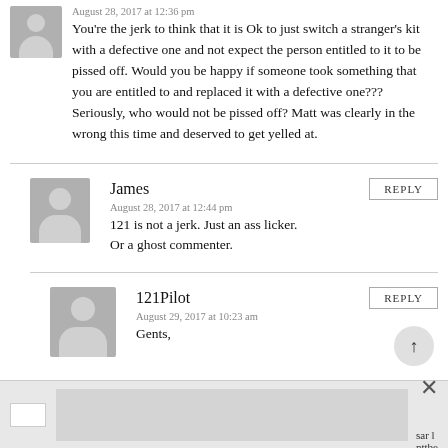August 28, 2017 at 12:36 pm
You're the jerk to think that it is Ok to just switch a stranger's kit with a defective one and not expect the person entitled to it to be pissed off. Would you be happy if someone took something that you are entitled to and replaced it with a defective one??? Seriously, who would not be pissed off? Matt was clearly in the wrong this time and deserved to get yelled at.
James
August 28, 2017 at 12:44 pm
121 is not a jerk. Just an ass licker. Or a ghost commenter.
121Pilot
August 29, 2017 at 10:23 am
Gents,